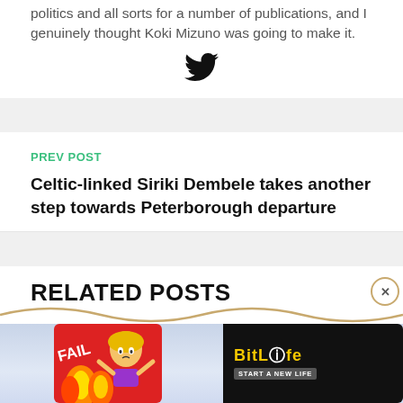politics and all sorts for a number of publications, and I genuinely thought Koki Mizuno was going to make it.
[Figure (illustration): Twitter bird icon in black]
PREV POST
Celtic-linked Siriki Dembele takes another step towards Peterborough departure
RELATED POSTS
[Figure (infographic): BitLife advertisement banner with fire animation and 'START A NEW LIFE' tagline on a light blue background]